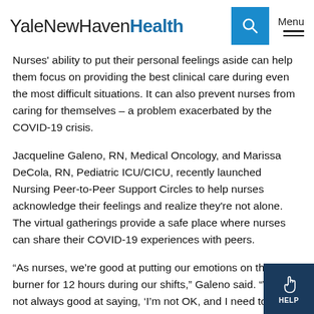YaleNewHavenHealth
Nurses' ability to put their personal feelings aside can help them focus on providing the best clinical care during even the most difficult situations. It can also prevent nurses from caring for themselves – a problem exacerbated by the COVID-19 crisis.
Jacqueline Galeno, RN, Medical Oncology, and Marissa DeCola, RN, Pediatric ICU/CICU, recently launched Nursing Peer-to-Peer Support Circles to help nurses acknowledge their feelings and realize they're not alone. The virtual gatherings provide a safe place where nurses can share their COVID-19 experiences with peers.
“As nurses, we’re good at putting our emotions on the back burner for 12 hours during our shifts,” Galeno said. “We’re not always good at saying, ‘I’m not OK, and I need to do something about it.’”
The Circles idea came out of a meeting of the Nursing Professional Governance Quality and Safety Council, which Galeno co-chairs.